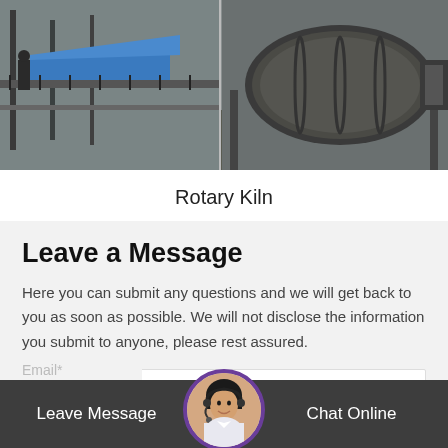[Figure (photo): Industrial rotary kiln equipment in a factory setting, showing large cylindrical machinery and structural framework]
Rotary Kiln
Leave a Message
Here you can submit any questions and we will get back to you as soon as possible. We will not disclose the information you submit to anyone, please rest assured.
Productname*
Your Name
Email*
Leave Message
Chat Online